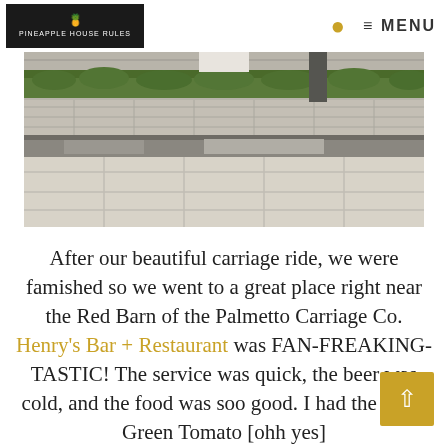PINEAPPLE HOUSE RULES | MENU
[Figure (photo): Outdoor stone paver walkway with a curb/step edge and green hedges/shrubbery in the background, photographed in daylight.]
After our beautiful carriage ride, we were famished so we went to a great place right near the Red Barn of the Palmetto Carriage Co. Henry's Bar + Restaurant was FAN-FREAKING-TASTIC! The service was quick, the beer was cold, and the food was soo good. I had the Fried Green Tomato [ohh yes]